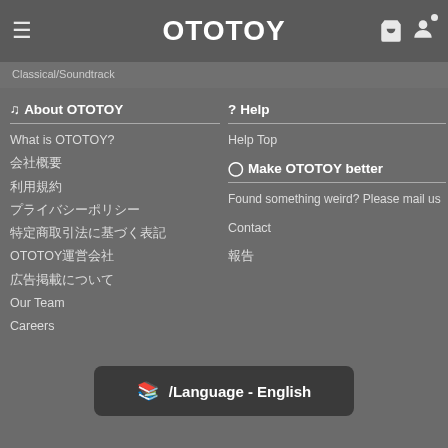OTOTOY
Classical/Soundtrack
♪ About OTOTOY
What is OTOTOY?
会社概要
利用規約
プライバシーポリシー
特定商取引法に基づく表記
OTOTOY運営会社
広告掲載について
Our Team
Careers
? Help
Help Top
💡 Make OTOTOY better
Found something weird? Please mail us
Contact
報告
/Language - English